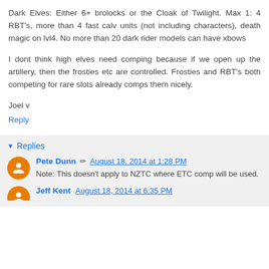Dark Elves: Either 6+ brolocks or the Cloak of Twilight. Max 1: 4 RBT's, more than 4 fast calv units (not including characters), death magic on lvl4. No more than 20 dark rider models can have xbows
I dont think high elves need comping because if we open up the artillery, then the frosties etc are controlled. Frosties and RBT's both competing for rare slots already comps them nicely.
Joel v
Reply
Replies
Pete Dunn August 18, 2014 at 1:28 PM
Note: This doesn't apply to NZTC where ETC comp will be used.
Jeff Kent August 18, 2014 at 6:35 PM